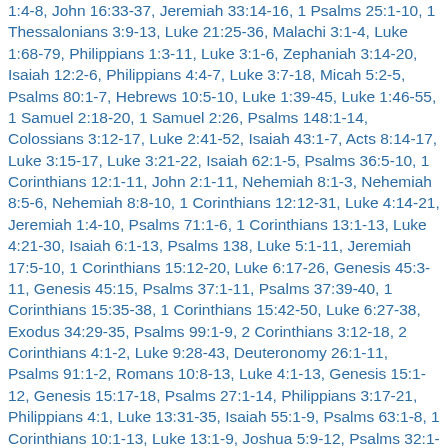1:4-8, John 16:33-37, Jeremiah 33:14-16, 1 Psalms 25:1-10, 1 Thessalonians 3:9-13, Luke 21:25-36, Malachi 3:1-4, Luke 1:68-79, Philippians 1:3-11, Luke 3:1-6, Zephaniah 3:14-20, Isaiah 12:2-6, Philippians 4:4-7, Luke 3:7-18, Micah 5:2-5, Psalms 80:1-7, Hebrews 10:5-10, Luke 1:39-45, Luke 1:46-55, 1 Samuel 2:18-20, 1 Samuel 2:26, Psalms 148:1-14, Colossians 3:12-17, Luke 2:41-52, Isaiah 43:1-7, Acts 8:14-17, Luke 3:15-17, Luke 3:21-22, Isaiah 62:1-5, Psalms 36:5-10, 1 Corinthians 12:1-11, John 2:1-11, Nehemiah 8:1-3, Nehemiah 8:5-6, Nehemiah 8:8-10, 1 Corinthians 12:12-31, Luke 4:14-21, Jeremiah 1:4-10, Psalms 71:1-6, 1 Corinthians 13:1-13, Luke 4:21-30, Isaiah 6:1-13, Psalms 138, Luke 5:1-11, Jeremiah 17:5-10, 1 Corinthians 15:12-20, Luke 6:17-26, Genesis 45:3-11, Genesis 45:15, Psalms 37:1-11, Psalms 37:39-40, 1 Corinthians 15:35-38, 1 Corinthians 15:42-50, Luke 6:27-38, Exodus 34:29-35, Psalms 99:1-9, 2 Corinthians 3:12-18, 2 Corinthians 4:1-2, Luke 9:28-43, Deuteronomy 26:1-11, Psalms 91:1-2, Romans 10:8-13, Luke 4:1-13, Genesis 15:1-12, Genesis 15:17-18, Psalms 27:1-14, Philippians 3:17-21, Philippians 4:1, Luke 13:31-35, Isaiah 55:1-9, Psalms 63:1-8, 1 Corinthians 10:1-13, Luke 13:1-9, Joshua 5:9-12, Psalms 32:1-11, 2 Corinthians 5:16-21, Luke 15:1-3, Luke 15:11-32, Isaiah 43:16-21, Philippians 3:4-14, John 12:1-8, Luke 19:28-40, Luke 22:14-71, Luke 23:1-56, Isaiah 65:17-25, 1 Corinthians 15:19-26, Luke 24:1-12, Acts 5:27-32,